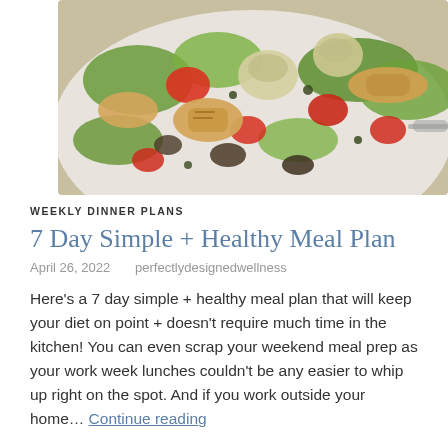[Figure (photo): Close-up overhead photo of a salad bowl with grilled chicken pieces, artichoke hearts, red bell peppers, capers, and mixed greens on a white plate.]
WEEKLY DINNER PLANS
7 Day Simple + Healthy Meal Plan
April 26, 2022   perfectlydesignedwellness
Here's a 7 day simple + healthy meal plan that will keep your diet on point + doesn't require much time in the kitchen! You can even scrap your weekend meal prep as your work week lunches couldn't be any easier to whip up right on the spot. And if you work outside your home… Continue reading